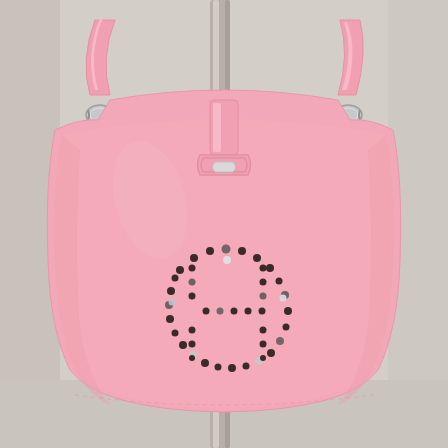[Figure (photo): A pink Hermès Evelyne bag displayed on a metal stand. The bag is a crescent/half-moon shaped shoulder bag in soft pink leather with silver hardware clasps on the strap. The front face features the iconic Hermès perforated 'H' logo made of punched holes arranged in a circular pattern. A small D-ring buckle closure is visible at the top center of the bag. The metal display stand is gold/silver colored and visible through the top opening of the bag.]